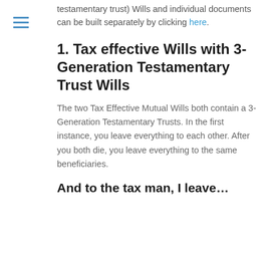[Figure (other): Hamburger menu icon with three horizontal blue lines]
testamentary trust) Wills and individual documents can be built separately by clicking here.
1. Tax effective Wills with 3-Generation Testamentary Trust Wills
The two Tax Effective Mutual Wills both contain a 3-Generation Testamentary Trusts. In the first instance, you leave everything to each other. After you both die, you leave everything to the same beneficiaries.
And to the tax man, I leave…